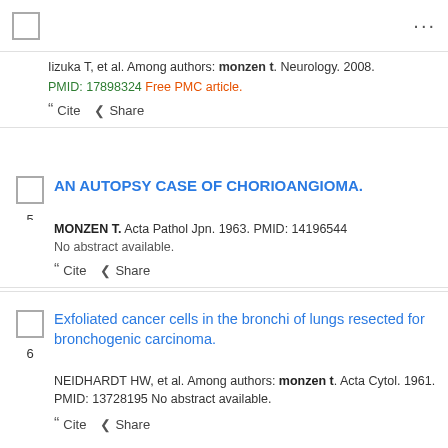[checkbox] ...
Iizuka T, et al. Among authors: monzen t. Neurology. 2008. PMID: 17898324 Free PMC article.
Cite  Share
AN AUTOPSY CASE OF CHORIOANGIOMA.
MONZEN T. Acta Pathol Jpn. 1963. PMID: 14196544
No abstract available.
Cite  Share
Exfoliated cancer cells in the bronchi of lungs resected for bronchogenic carcinoma.
NEIDHARDT HW, et al. Among authors: monzen t. Acta Cytol. 1961. PMID: 13728195 No abstract available.
Cite  Share